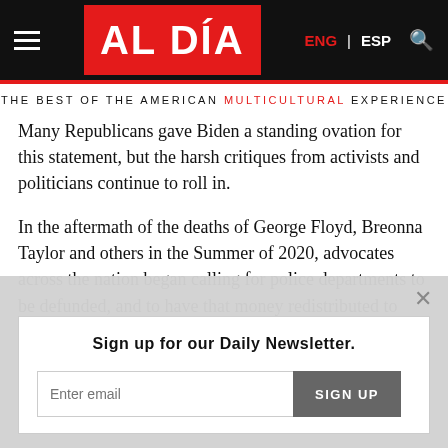AL DÍA — ENG | ESP
THE BEST OF THE AMERICAN MULTICULTURAL EXPERIENCE
Many Republicans gave Biden a standing ovation for this statement, but the harsh critiques from activists and politicians continue to roll in.
In the aftermath of the deaths of George Floyd, Breonna Taylor and others in the Summer of 2020, advocates across the nation began calling for police departments to be defunded, and to have that money redistributed to community services.
“With all due respect, Mr. President. You didn’t mention saving
Sign up for our Daily Newsletter.
Enter email